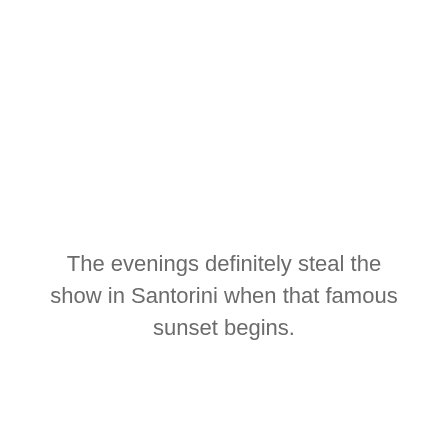The evenings definitely steal the show in Santorini when that famous sunset begins.